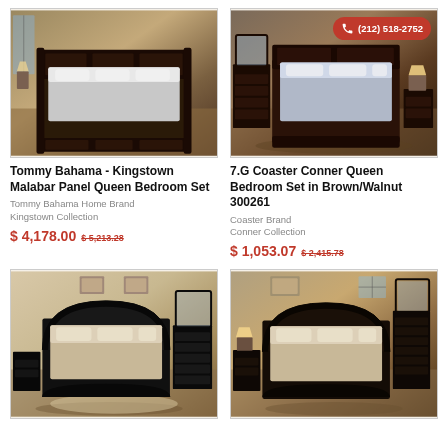[Figure (photo): Tommy Bahama Kingstown bedroom set photo showing dark wood panel bed in rustic room]
Tommy Bahama - Kingstown Malabar Panel Queen Bedroom Set
Tommy Bahama Home Brand
Kingstown Collection
$ 4,178.00  $ 5,213.28
[Figure (photo): 7.G Coaster Conner Queen Bedroom Set in Brown/Walnut with phone badge showing (212) 518-2752]
7.G Coaster Conner Queen Bedroom Set in Brown/Walnut 300261
Coaster Brand
Conner Collection
$ 1,053.07  $ 2,415.78
[Figure (photo): Black bedroom furniture set with sleigh bed, dresser with mirror, and nightstands]
[Figure (photo): Dark wood bedroom set with sleigh bed, chest, and mirror in warm-toned room]